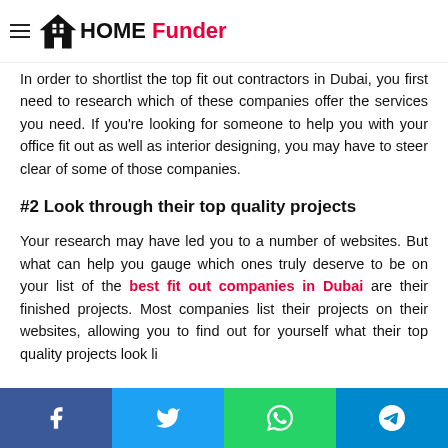HOME Funder
In order to shortlist the top fit out contractors in Dubai, you first need to research which of these companies offer the services you need. If you're looking for someone to help you with your office fit out as well as interior designing, you may have to steer clear of some of those companies.
#2 Look through their top quality projects
Your research may have led you to a number of websites. But what can help you gauge which ones truly deserve to be on your list of the best fit out companies in Dubai are their finished projects. Most companies list their projects on their websites, allowing you to find out for yourself what their top quality projects look like.